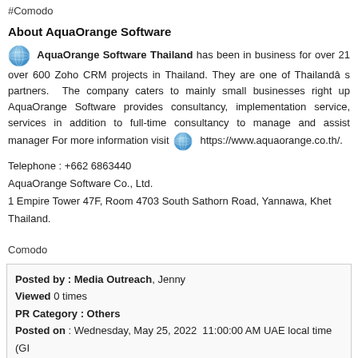#Comodo
About AquaOrange Software
AquaOrange Software Thailand has been in business for over 21 over 600 Zoho CRM projects in Thailand. They are one of Thailandâ s partners. The company caters to mainly small businesses right up AquaOrange Software provides consultancy, implementation service, services in addition to full-time consultancy to manage and assist manager For more information visit https://www.aquaorange.co.th/.
Telephone : +662 6863440
AquaOrange Software Co., Ltd.
1 Empire Tower 47F, Room 4703 South Sathorn Road, Yannawa, Khet
Thailand.
Comodo
Posted by : Media Outreach, Jenny
Viewed 0 times
PR Category : Others
Posted on : Wednesday, May 25, 2022  11:00:00 AM UAE local time (GI
Replication or redistribution in whole or in part is expressly prohibited
consent of DubaiPRNetwork.com.
[Figure (illustration): Yellow envelope icon at bottom center]